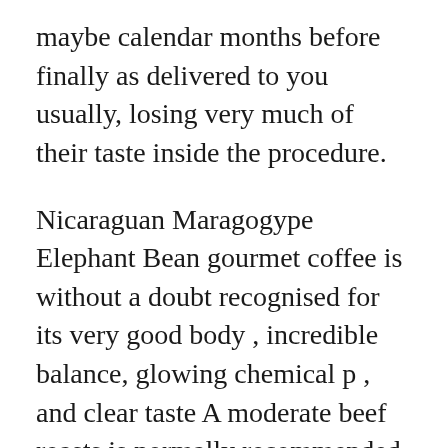maybe calendar months before finally as delivered to you usually, losing very much of their taste inside the procedure.
Nicaraguan Maragogype Elephant Bean gourmet coffee is without a doubt recognised for its very good body , incredible balance, glowing chemical p , and clear taste A moderate beef roasts is normally recommended and not whole lot more. It is expanding the selection of its exports to the essential industry, so you can obtain